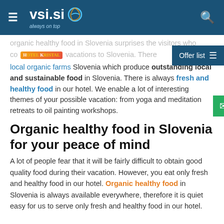vsi.si always on top
organic healthy food in Slovenia surprises the visitors who come on vacations to Slovenia. There local organic farms Slovenia which produce outstanding local and sustainable food in Slovenia. There is always fresh and healthy food in our hotel. We enable a lot of interesting themes of your possible vacation: from yoga and meditation retreats to oil painting workshops.
Organic healthy food in Slovenia for your peace of mind
A lot of people fear that it will be fairly difficult to obtain good quality food during their vacation. However, you eat only fresh and healthy food in our hotel. Organic healthy food in Slovenia is always available everywhere, therefore it is quiet easy for us to serve only fresh and healthy food in our hotel. All organic food in Slovenia is abundantly